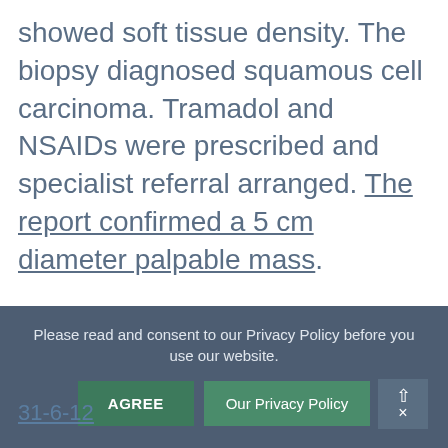showed soft tissue density. The biopsy diagnosed squamous cell carcinoma. Tramadol and NSAIDs were prescribed and specialist referral arranged. The report confirmed a 5 cm diameter palpable mass. An MRI or CT scan was advised, with surgery as the best option and potentially palliative radiation. The owner could not afford any of this.
Please read and consent to our Privacy Policy before you use our website.
31-6-12